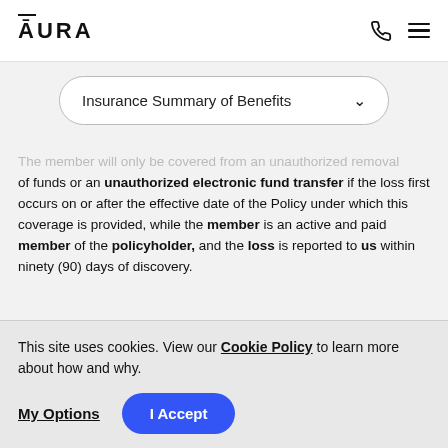ĀURA
Insurance Summary of Benefits
The member will only be covered from an unauthorized removal of funds or an unauthorized electronic fund transfer if the loss first occurs on or after the effective date of the Policy under which this coverage is provided, while the member is an active and paid member of the policyholder, and the loss is reported to us within ninety (90) days of discovery.
The member is not covered if the unauthorized removal of funds or unauthorized electronic fund transfer first occurs
This site uses cookies. View our Cookie Policy to learn more about how and why.
My Options | I Accept